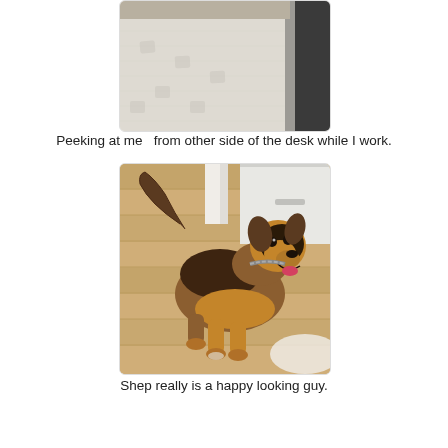[Figure (photo): Partial photo showing a white textured rug and dark furniture, viewed from floor level — a dog peeking from behind a desk]
Peeking at me  from other side of the desk while I work.
[Figure (photo): A brown and black mixed-breed dog (Shep) standing on a hardwood floor, smiling with mouth open, in front of white cabinetry]
Shep really is a happy looking guy.